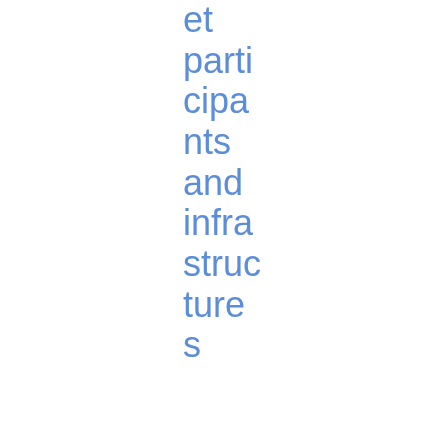et participants and infrastructures
| Date | ID | Title | Category | Type | Download |
| --- | --- | --- | --- | --- | --- |
| 10/04/2019 | JC 2019 26 | Joint ESA advice on the need for legislative | Innovation and Products / Joint Committee | Technical Advice | PDF 1.34 MB |